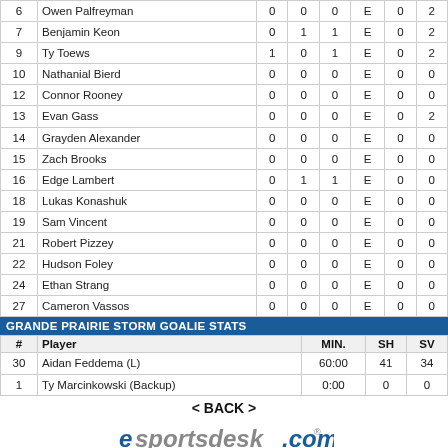| # | Player |  |  |  |  |  |  |
| --- | --- | --- | --- | --- | --- | --- | --- |
| 6 | Owen Palfreyman | 0 | 0 | 0 | E | 0 | 2 |
| 7 | Benjamin Keon | 0 | 1 | 1 | E | 0 | 2 |
| 9 | Ty Toews | 1 | 0 | 1 | E | 0 | 2 |
| 10 | Nathanial Bierd | 0 | 0 | 0 | E | 0 | 0 |
| 12 | Connor Rooney | 0 | 0 | 0 | E | 0 | 0 |
| 13 | Evan Gass | 0 | 0 | 0 | E | 0 | 2 |
| 14 | Grayden Alexander | 0 | 0 | 0 | E | 0 | 0 |
| 15 | Zach Brooks | 0 | 0 | 0 | E | 0 | 0 |
| 16 | Edge Lambert | 0 | 1 | 1 | E | 0 | 0 |
| 18 | Lukas Konashuk | 0 | 0 | 0 | E | 0 | 0 |
| 19 | Sam Vincent | 0 | 0 | 0 | E | 0 | 0 |
| 21 | Robert Pizzey | 0 | 0 | 0 | E | 0 | 0 |
| 22 | Hudson Foley | 0 | 0 | 0 | E | 0 | 0 |
| 24 | Ethan Strang | 0 | 0 | 0 | E | 0 | 0 |
| 27 | Cameron Vassos | 0 | 0 | 0 | E | 0 | 0 |
GRANDE PRAIRIE STORM GOALIE STATS
| # | Player | MIN. | SH | SV |
| --- | --- | --- | --- | --- |
| 30 | Aidan Feddema (L) | 60:00 | 41 | 34 |
| 1 | Ty Marcinkowski (Backup) | 0:00 | 0 | 0 |
< BACK >
[Figure (logo): esportsdesk.com logo with tagline 'on-line sport administration tools']